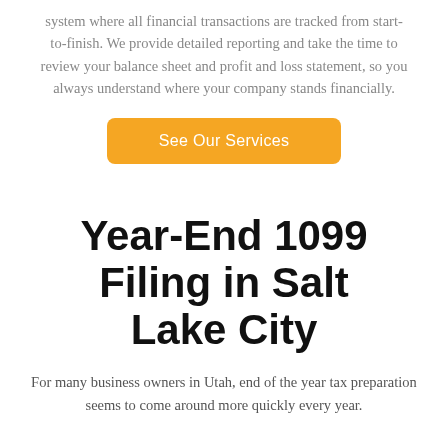system where all financial transactions are tracked from start-to-finish. We provide detailed reporting and take the time to review your balance sheet and profit and loss statement, so you always understand where your company stands financially.
See Our Services
Year-End 1099 Filing in Salt Lake City
For many business owners in Utah, end of the year tax preparation seems to come around more quickly every year.